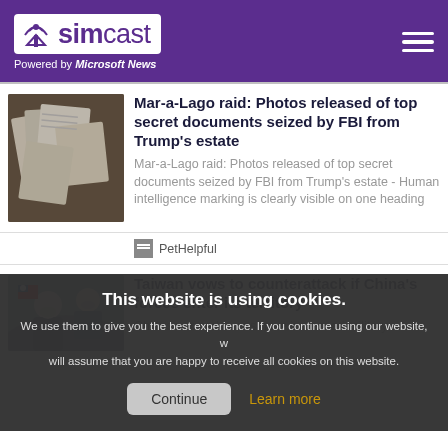simcast — Powered by Microsoft News
[Figure (screenshot): Thumbnail image of top secret documents spread on a surface]
Mar-a-Lago raid: Photos released of top secret documents seized by FBI from Trump's estate
Mar-a-Lago raid: Photos released of top secret documents seized by FBI from Trump's estate - Human intelligence marking is clearly visible on one heading
This website is using cookies. We use them to give you the best experience. If you continue using our website, we will assume that you are happy to receive all cookies on this website. Continue | Learn more
PetHelpful
[Figure (photo): Thumbnail image of Taiwan military personnel]
Taiwan vows to counterattack if China's forces enter its territory
Chinese armed forces have increased military